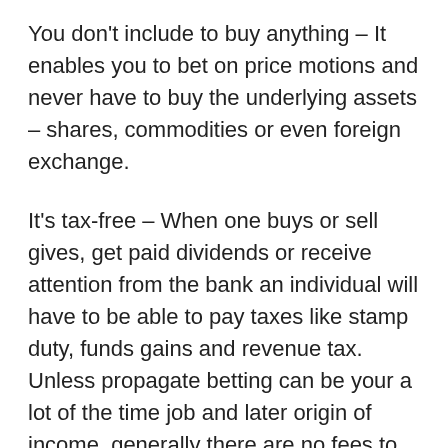You don't include to buy anything – It enables you to bet on price motions and never have to buy the underlying assets – shares, commodities or even foreign exchange.
It's tax-free – When one buys or sell gives, get paid dividends or receive attention from the bank an individual will have to be able to pay taxes like stamp duty, funds gains and revenue tax. Unless propagate betting can be your a lot of the time job and later origin of income, generally there are no fees to be compensated as it's considered to be gambling.
You can certainly go long or perhaps short – Once you spread bet you can gain just as very